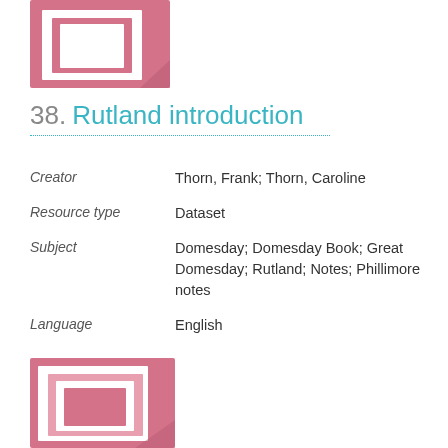[Figure (illustration): Pink/rose colored book or document icon with white rectangle inset and shadow, top of page]
38. Rutland introduction
| Field | Value |
| --- | --- |
| Creator | Thorn, Frank; Thorn, Caroline |
| Resource type | Dataset |
| Subject | Domesday; Domesday Book; Great Domesday; Rutland; Notes; Phillimore notes |
| Language | English |
[Figure (illustration): Pink/rose colored documents/pages icon with white rectangles and shadow, bottom of page]